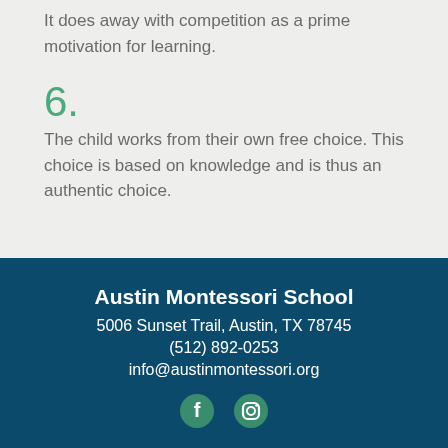It does away with competition as a prime motivation for learning.
6.
The child works from their own free choice.  This choice is based on knowledge and is thus an authentic choice.
Austin Montessori School
5006 Sunset Trail, Austin, TX 78745
(512) 892-0253
info@austinmontessori.org